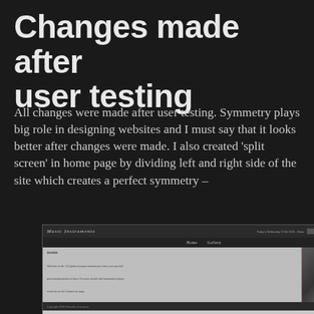Changes made after user testing
All changes were made after user testing. Symmetry plays big role in designing websites and I must say that it looks better after changes were made. I also created ‘split screen’ in home page by dividing left and right side of the site which creates a perfect symmetry –
[Figure (screenshot): Screenshot of a music instruments website showing a dark header with 'Music Instruments' logo, navigation bar with 'Home' and 'Gallery' links, a split-screen layout with text on the left and a guitar image on the right, divided by a red vertical line.]